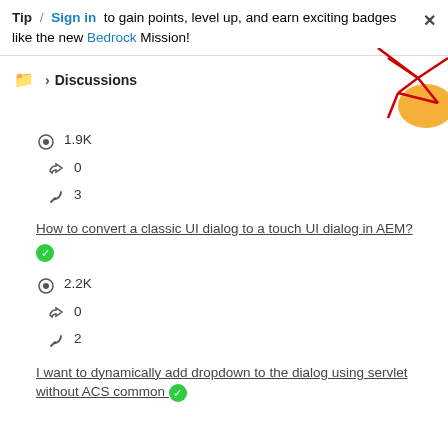Tip / Sign in to gain points, level up, and earn exciting badges like the new Bedrock Mission!
Discussions
[Figure (illustration): Decorative geometric red lines and orange shape in top-right corner]
👁 1.9K   👍 0   ↩ 3
How to convert a classic UI dialog to a touch UI dialog in AEM?
👁 2.2K   👍 0   ↩ 2
I want to dynamically add dropdown to the dialog using servlet without ACS common